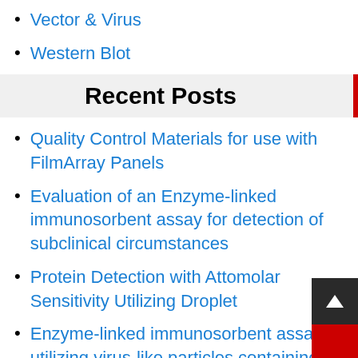Vector & Virus
Western Blot
Recent Posts
Quality Control Materials for use with FilmArray Panels
Evaluation of an Enzyme-linked immunosorbent assay for detection of subclinical circumstances
Protein Detection with Attomolar Sensitivity Utilizing Droplet
Enzyme-linked immunosorbent assays utilizing virus-like particles containing mutations
enzyme-linked immunosorbent assay for Coxsackievirus A16 antigen in vaccine